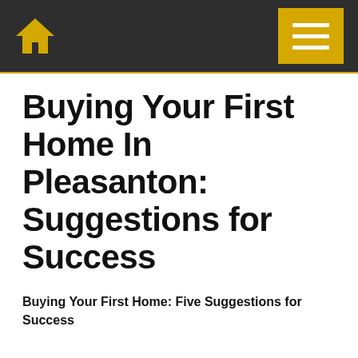Nav bar with home icon and menu button
Buying Your First Home In Pleasanton: Suggestions for Success
Buying Your First Home: Five Suggestions for Success